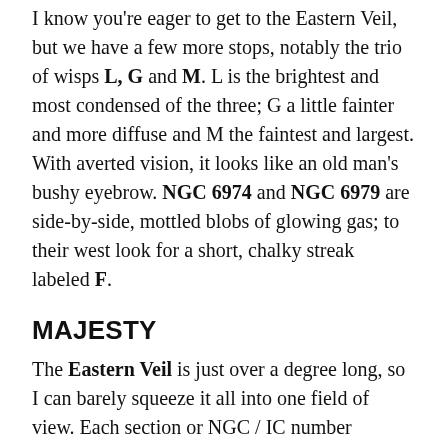I know you're eager to get to the Eastern Veil, but we have a few more stops, notably the trio of wisps L, G and M. L is the brightest and most condensed of the three; G a little fainter and more diffuse and M the faintest and largest. With averted vision, it looks like an old man's bushy eyebrow. NGC 6974 and NGC 6979 are side-by-side, mottled blobs of glowing gas; to their west look for a short, chalky streak labeled F.
MAJESTY
The Eastern Veil is just over a degree long, so I can barely squeeze it all into one field of view. Each section or NGC / IC number possesses its own unique character: the northern third bright and thick with lacework reminiscent of beaming auroral columns; the mid-section fainter and sliced into multiple, parallel streaks, and the south third nothing short of a revelation. Is there anything in the heavens that looks as terrifyingly beautiful as these crusty, ribbed arcs, so bonelike in appearance you can practically